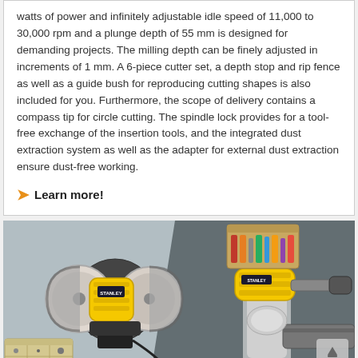watts of power and infinitely adjustable idle speed of 11,000 to 30,000 rpm and a plunge depth of 55 mm is designed for demanding projects. The milling depth can be finely adjusted in increments of 1 mm. A 6-piece cutter set, a depth stop and rip fence as well as a guide bush for reproducing cutting shapes is also included for you. Furthermore, the scope of delivery contains a compass tip for circle cutting. The spindle lock provides for a tool-free exchange of the insertion tools, and the integrated dust extraction system as well as the adapter for external dust extraction ensure dust-free working.
Learn more!
[Figure (photo): Two photos side by side of yellow power tools: left shows a bench grinder/polisher with accessories and a parts organizer box; right shows a person using a handheld rotary tool with an attachment on a metal pipe.]